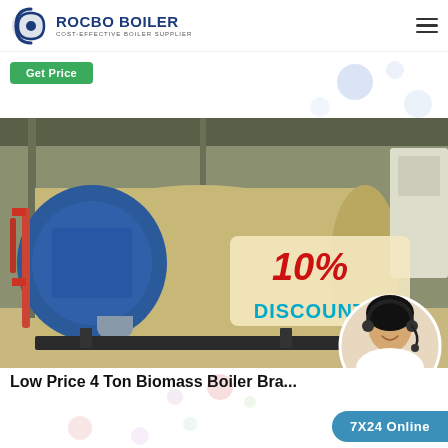ROCBO BOILER – COST-EFFECTIVE BOILER SUPPLIER
Get Price
[Figure (photo): Industrial boiler unit – large horizontal cylindrical body with blue front panel and piping, installed in a factory setting. Overlaid with '10% DISCOUNT' text and a customer service representative photo in bottom-right corner.]
Low Price 4 Ton Biomass Boiler Bra...
7X24 Online